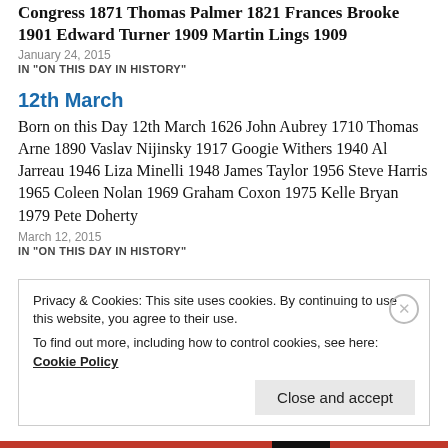Congress 1871 Thomas Palmer 1821 Frances Brooke 1901 Edward Turner 1909 Martin Lings 1909
January 24, 2015
IN "ON THIS DAY IN HISTORY"
12th March
Born on this Day 12th March 1626 John Aubrey 1710 Thomas Arne 1890 Vaslav Nijinsky 1917 Googie Withers 1940 Al Jarreau 1946 Liza Minelli 1948 James Taylor 1956 Steve Harris 1965 Coleen Nolan 1969 Graham Coxon 1975 Kelle Bryan 1979 Pete Doherty
March 12, 2015
IN "ON THIS DAY IN HISTORY"
Privacy & Cookies: This site uses cookies. By continuing to use this website, you agree to their use.
To find out more, including how to control cookies, see here:
Cookie Policy
Close and accept